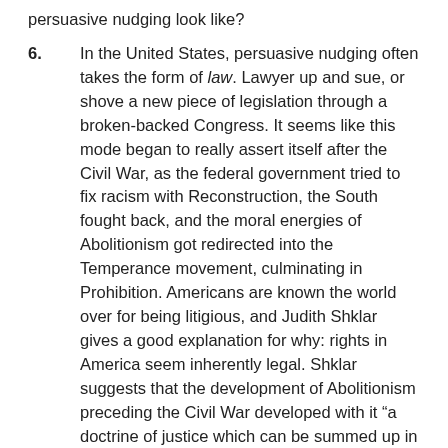persuasive nudging look like?
6.   In the United States, persuasive nudging often takes the form of law. Lawyer up and sue, or shove a new piece of legislation through a broken-backed Congress. It seems like this mode began to really assert itself after the Civil War, as the federal government tried to fix racism with Reconstruction, the South fought back, and the moral energies of Abolitionism got redirected into the Temperance movement, culminating in Prohibition. Americans are known the world over for being litigious, and Judith Shklar gives a good explanation for why: rights in America seem inherently legal. Shklar suggests that the development of Abolitionism preceding the Civil War developed with it “a doctrine of justice which can be summed up in the expression equal protection of the laws, that is, in the demand that laws be applied equally to all, … which finally became, in modern times, the foundation of civil rights, that is, the idea of equal liberty for all citizens.” [4] Shklar calls this a “liberalism of rights,” and “even though one still believes in natural rights in the United States, one knows perfectly that despite the Declaration of Independence they are not self-evident. They